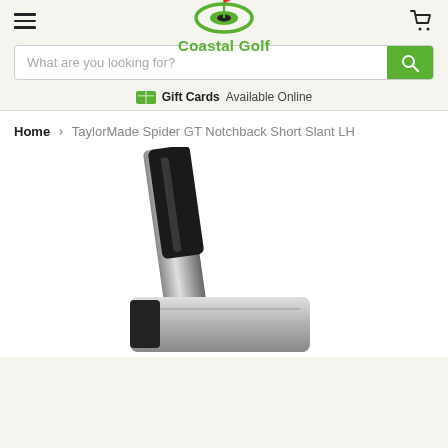Coastal Golf
What are you looking for?
Gift Cards Available Online
Home > TaylorMade Spider GT Notchback Short Slant LH
[Figure (photo): Close-up photograph of a TaylorMade Spider GT Notchback Short Slant LH golf putter, showing the shaft and head against a white background.]